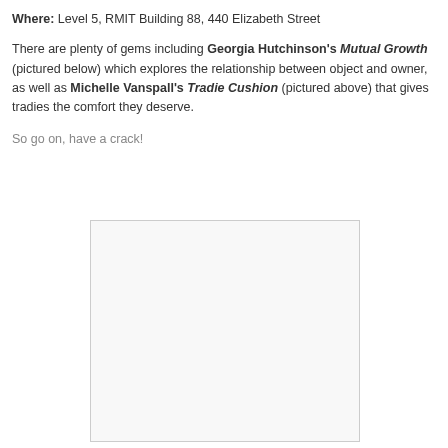Where: Level 5, RMIT Building 88, 440 Elizabeth Street
There are plenty of gems including Georgia Hutchinson's Mutual Growth (pictured below) which explores the relationship between object and owner, as well as Michelle Vanspall's Tradie Cushion (pictured above) that gives tradies the comfort they deserve.
So go on, have a crack!
[Figure (photo): A photograph (partially visible), likely showing an artwork or product referenced in the text above.]